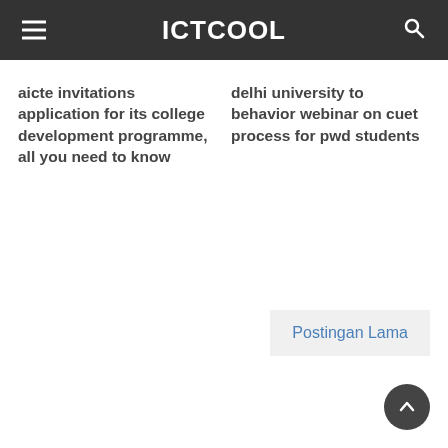ICTCOOL
aicte invitations application for its college development programme, all you need to know
delhi university to behavior webinar on cuet process for pwd students
Postingan Lama